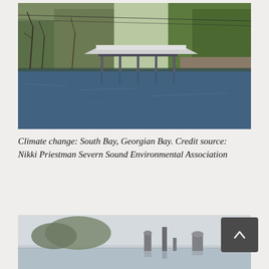[Figure (photo): Photograph of South Bay, Georgian Bay showing a boat shelter structure on stilts over blue water, with trees along the shoreline in early spring.]
Climate change: South Bay, Georgian Bay. Credit source: Nikki Priestman Severn Sound Environmental Association
[Figure (photo): Partial photograph showing a misty waterfront scene with structures visible along the water.]